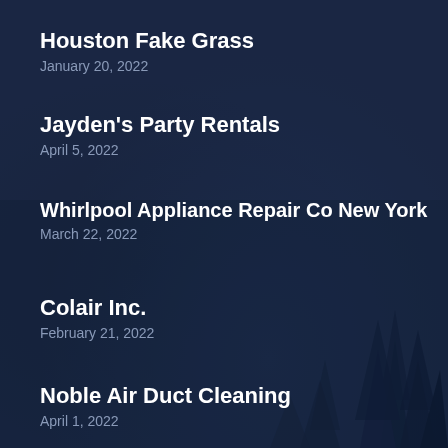Houston Fake Grass
January 20, 2022
Jayden's Party Rentals
April 5, 2022
Whirlpool Appliance Repair Co New York
March 22, 2022
Colair Inc.
February 21, 2022
Noble Air Duct Cleaning
April 1, 2022